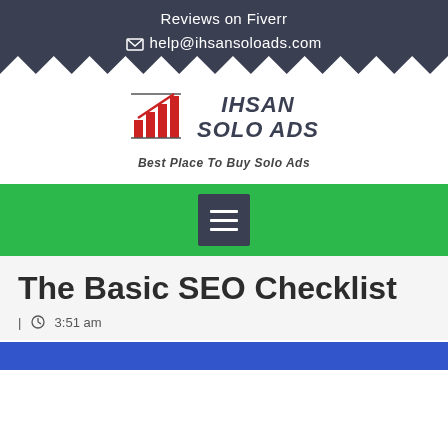Reviews on Fiverr
help@ihsansoloads.com
[Figure (logo): Ihsan Solo Ads logo with bar chart icon and text 'IHSAN SOLO ADS']
Best Place To Buy Solo Ads
[Figure (other): Green navigation bar with hamburger menu button]
The Basic SEO Checklist
| 3:51 am
[Figure (photo): Blue banner image at bottom of page]